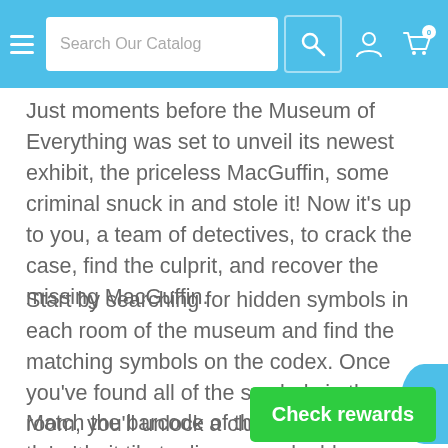Search Our Catalog
Just moments before the Museum of Everything was set to unveil its newest exhibit, the priceless MacGuffin, some criminal snuck in and stole it! Now it's up to you, a team of detectives, to crack the case, find the culprit, and recover the missing MacGuffin.
Start by searching for hidden symbols in each room of the museum and find the matching symbols on the codex. Once you've found all of the symbols in the room, you'll unlock a clue about the culprit.
Match the barcode of the clue tile against the culprit tile to discover valuable information about the crook. Does the miscreant have an umbrella? No? Well, that eliminates the shift...